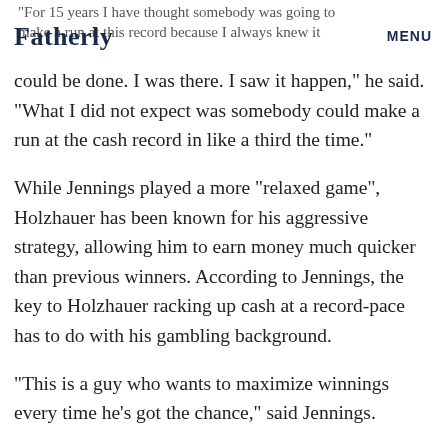Fatherly | MENU | “For 15 years I have thought somebody was going to make a run at this record because I always knew it
could be done. I was there. I saw it happen,” he said. “What I did not expect was somebody could make a run at the cash record in like a third the time.”
While Jennings played a more “relaxed game”, Holzhauer has been known for his aggressive strategy, allowing him to earn money much quicker than previous winners. According to Jennings, the key to Holzhauer racking up cash at a record-pace has to do with his gambling background.
“This is a guy who wants to maximize winnings every time he’s got the chance,” said Jennings.